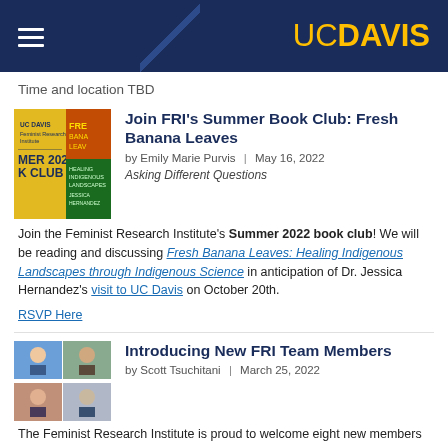UC DAVIS
Time and location TBD
Join FRI's Summer Book Club: Fresh Banana Leaves
by Emily Marie Purvis | May 16, 2022
Asking Different Questions
Join the Feminist Research Institute's Summer 2022 book club! We will be reading and discussing Fresh Banana Leaves: Healing Indigenous Landscapes through Indigenous Science in anticipation of Dr. Jessica Hernandez's visit to UC Davis on October 20th.
RSVP Here
Introducing New FRI Team Members
by Scott Tsuchitani | March 25, 2022
The Feminist Research Institute is proud to welcome eight new members to our team